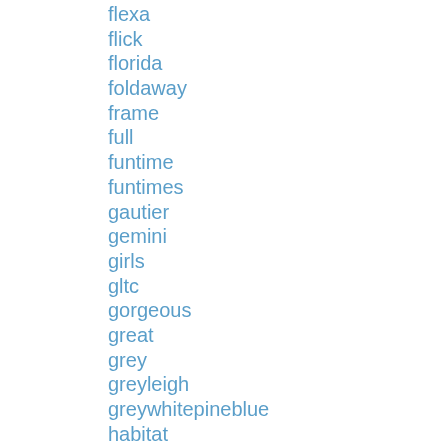flexa
flick
florida
foldaway
frame
full
funtime
funtimes
gautier
gemini
girls
gltc
gorgeous
great
grey
greyleigh
greywhitepineblue
habitat
hadley
hand
handmade
hansel
happy